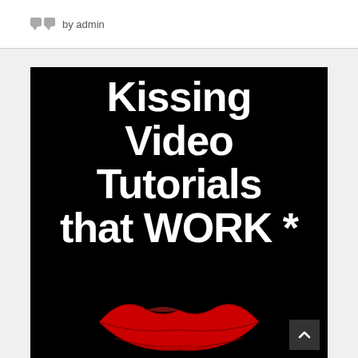by admin
[Figure (illustration): Black background image with large white bold text reading 'Kissing Video Tutorials that WORK *' and red lips illustration at the bottom]